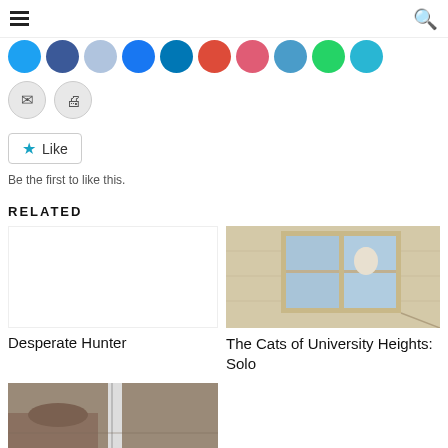[Figure (screenshot): Navigation bar with hamburger menu icon on left and search icon on right]
[Figure (infographic): Row of social sharing circular icon buttons in various colors (blue, dark blue, light blue, blue, blue, red, pink, teal, green, teal) and two grey icons for email and print]
[Figure (other): Like button with star icon and text 'Like']
Be the first to like this.
RELATED
[Figure (photo): Empty left slot for Desperate Hunter article - no image shown]
Desperate Hunter
[Figure (photo): Photo of a cat sitting in or near a window on a building exterior wall, with blue sky visible through the glass panes]
The Cats of University Heights: Solo
[Figure (photo): Partial photo showing what appears to be a cat near a pole or post on a concrete surface]